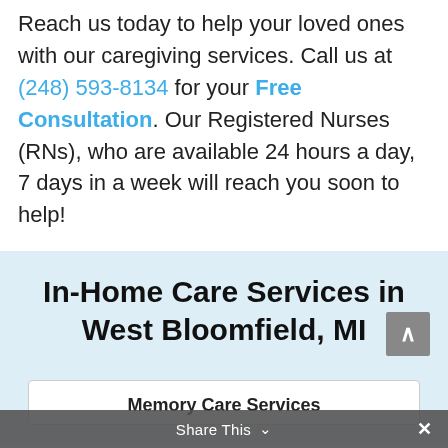Reach us today to help your loved ones with our caregiving services. Call us at (248) 593-8134 for your Free Consultation. Our Registered Nurses (RNs), who are available 24 hours a day, 7 days in a week will reach you soon to help!
In-Home Care Services in West Bloomfield, MI
Memory Care Services